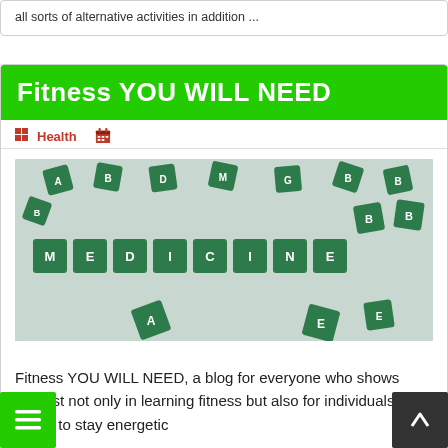all sorts of alternative activities in addition ...
Fitness YOU WILL NEED
Health
[Figure (photo): Green puzzle pieces scattered on a light grey surface, with the word MEDICINE spelled out by connected green puzzle pieces in the center]
Fitness YOU WILL NEED, a blog for everyone who shows interest not only in learning fitness but also for individuals who wants to stay energetic